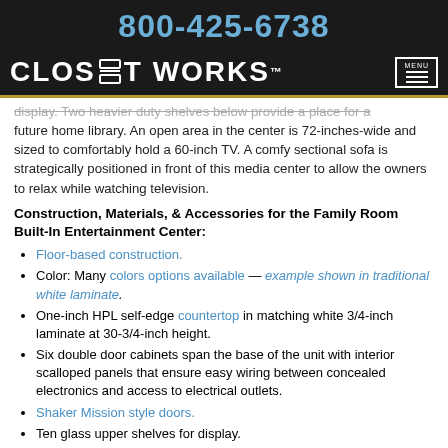800-425-6738
[Figure (logo): Closet Works logo on black background with menu button]
display. Two heavier duty shelves below provide a place for a future home library. An open area in the center is 72-inches-wide and sized to comfortably hold a 60-inch TV. A comfy sectional sofa is strategically positioned in front of this media center to allow the owners to relax while watching television.
Construction, Materials, & Accessories for the Family Room Built-In Entertainment Center:
Floor-based construction.
Color: Many colors options available — example shown in traditional white laminate.
One-inch HPL self-edge countertop in matching white 3/4-inch laminate at 30-3/4-inch height.
Six double door cabinets span the base of the unit with interior scalloped panels that ensure easy wiring between concealed electronics and access to electrical outlets.
Shaker Mission style doors.
Ten glass upper shelves for display.